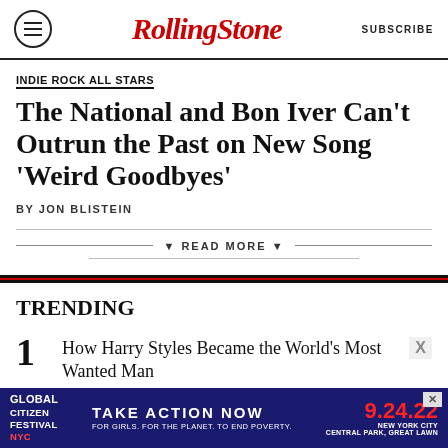Rolling Stone | SUBSCRIBE
INDIE ROCK ALL STARS
The National and Bon Iver Can't Outrun the Past on New Song 'Weird Goodbyes'
BY JON BLISTEIN
▼ READ MORE ▼
TRENDING
1 How Harry Styles Became the World's Most Wanted Man
[Figure (infographic): Global Citizen Festival NYC advertisement: TAKE ACTION NOW, FOR GIRLS. FOR THE PLANET. TO END POVERTY. 9.24.22 NEW YORK CITY CENTRAL PARK, GREAT LAWN]